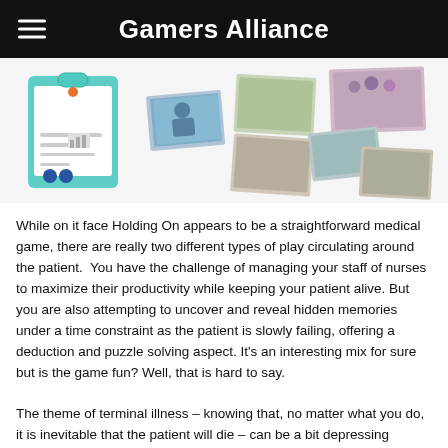Gamers Alliance
[Figure (photo): Game components including a teal clipboard board, player tokens, and scattered photo memory cards on a white background]
While on it face Holding On appears to be a straightforward medical game, there are really two different types of play circulating around the patient.  You have the challenge of managing your staff of nurses to maximize their productivity while keeping your patient alive. But you are also attempting to uncover and reveal hidden memories under a time constraint as the patient is slowly failing, offering a deduction and puzzle solving aspect. It's an interesting mix for sure but is the game fun? Well, that is hard to say.
The theme of terminal illness – knowing that, no matter what you do, it is inevitable that the patient will die – can be a bit depressing